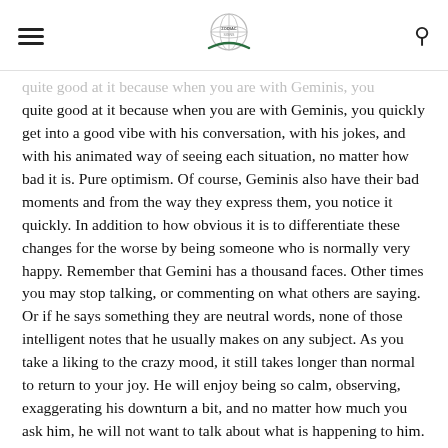[hamburger menu] [logo] [search icon]
quite good at it because when you are with Geminis, you quickly get into a good vibe with his conversation, with his jokes, and with his animated way of seeing each situation, no matter how bad it is. Pure optimism. Of course, Geminis also have their bad moments and from the way they express them, you notice it quickly. In addition to how obvious it is to differentiate these changes for the worse by being someone who is normally very happy. Remember that Gemini has a thousand faces. Other times you may stop talking, or commenting on what others are saying. Or if he says something they are neutral words, none of those intelligent notes that he usually makes on any subject. As you take a liking to the crazy mood, it still takes longer than normal to return to your joy. He will enjoy being so calm, observing, exaggerating his downturn a bit, and no matter how much you ask him, he will not want to talk about what is happening to him. He will keep his face sad and you will feel very helpless to see him so depressed. It is actually part of